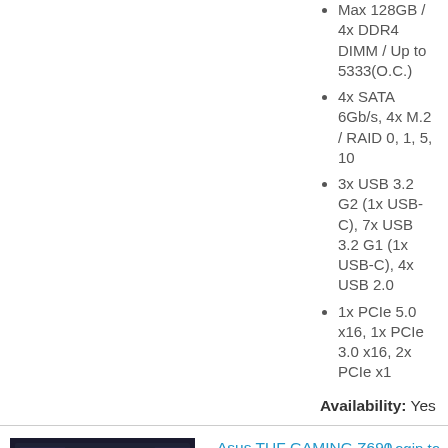Max 128GB / 4x DDR4 DIMM / Up to 5333(O.C.)
4x SATA 6Gb/s, 4x M.2 / RAID 0, 1, 5, 10
3x USB 3.2 G2 (1x USB-C), 7x USB 3.2 G1 (1x USB-C), 4x USB 2.0
1x PCIe 5.0 x16, 1x PCIe 3.0 x16, 2x PCIe x1
Availability: Yes
[Figure (photo): Asus TUF GAMING Z690-PLUS WIFI D4 motherboard photo]
Add to Compare
Asus TUF GAMING Z690-PLUS WIFI D4 Z690 LGA1700 ATX Motherboard
Login to see price
SKU: 800-51009E
MODEL: TUF GAMING Z690-PLUS WIFI D4
Integrated Intel Graphics - HDMI / DisplayPort